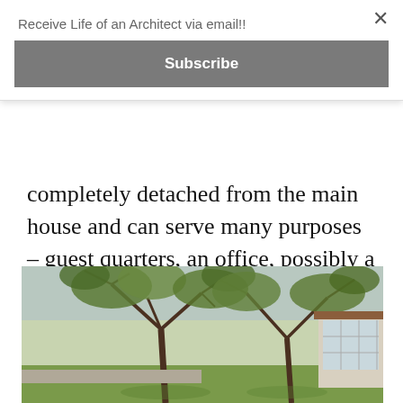Receive Life of an Architect via email!!
Subscribe
completely detached from the main house and can serve many purposes – guest quarters, an office, possibly a space for someone to live should assisted living needs ever be required.
[Figure (photo): Exterior photo of a mid-century modern house with large trees in the foreground, green lawn, and a glass facade on the right side of the frame.]